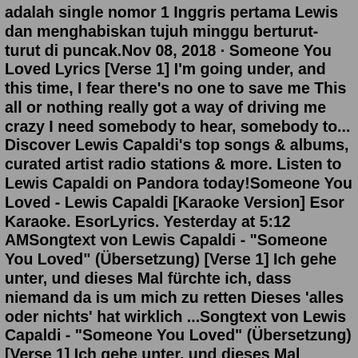adalah single nomor 1 Inggris pertama Lewis dan menghabiskan tujuh minggu berturut-turut di puncak.Nov 08, 2018 · Someone You Loved Lyrics [Verse 1] I'm going under, and this time, I fear there's no one to save me This all or nothing really got a way of driving me crazy I need somebody to hear, somebody to... Discover Lewis Capaldi's top songs & albums, curated artist radio stations & more. Listen to Lewis Capaldi on Pandora today!Someone You Loved - Lewis Capaldi [Karaoke Version] Esor Karaoke. EsorLyrics. Yesterday at 5:12 AMSongtext von Lewis Capaldi - "Someone You Loved" (Übersetzung) [Verse 1] Ich gehe unter, und dieses Mal fürchte ich, dass niemand da is um mich zu retten Dieses 'alles oder nichts' hat wirklich ...Songtext von Lewis Capaldi - "Someone You Loved" (Übersetzung) [Verse 1] Ich gehe unter, und dieses Mal fürchte ich, dass niemand da is um mich zu retten Dieses 'alles oder nichts' hat wirklich ...Lewis Capaldi - Someone You Loved (Chord & Lyrics)